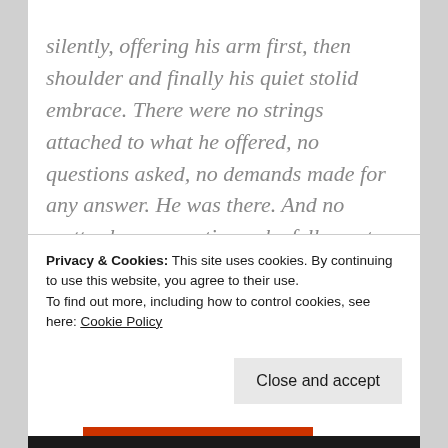silently, offering his arm first, then shoulder and finally his quiet stolid embrace. There were no strings attached to what he offered, no questions asked, no demands made for any answer. He was there. And no matter how many times she fell apart, he helped put her pieces back together.
Naren Krishnan, a friend who refused to let her give up, scaled every wall she put up and broke
Privacy & Cookies: This site uses cookies. By continuing to use this website, you agree to their use. To find out more, including how to control cookies, see here: Cookie Policy
Close and accept